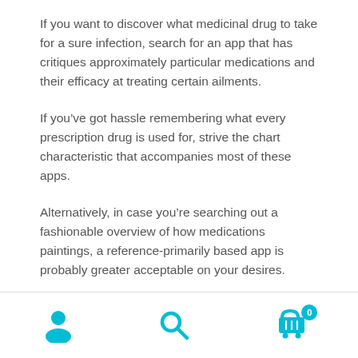If you want to discover what medicinal drug to take for a sure infection, search for an app that has critiques approximately particular medications and their efficacy at treating certain ailments.
If you’ve got hassle remembering what every prescription drug is used for, strive the chart characteristic that accompanies most of these apps.
Alternatively, in case you’re searching out a fashionable overview of how medications paintings, a reference-primarily based app is probably greater acceptable on your desires.
WebMD’s Dr. Ed is an smooth way to engage with a licensed
Navigation bar with person, search, and cart (0) icons